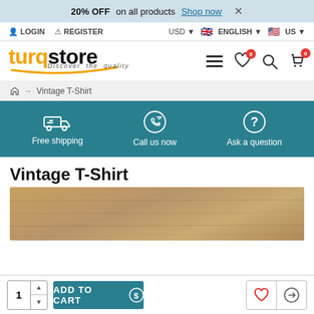20% OFF on all products Shop now ×
LOGIN   REGISTER   USD ▾  🇬🇧 ENGLISH ▾  🇺🇸 US ▾
[Figure (logo): turqstore logo with orange accent and 'Discover the quality' tagline, navigation icons including hamburger menu, heart (0), search, and cart (0)]
🏠 → Vintage T-Shirt
[Figure (infographic): Teal feature bar with three items: Free shipping (truck icon), Call us now (phone icon), Ask a question (question mark icon)]
Vintage T-Shirt
[Figure (photo): Top portion of a product photo showing a warm wooden/tan background, bottom cropped]
1  ADD TO CART  ♡  ⇄